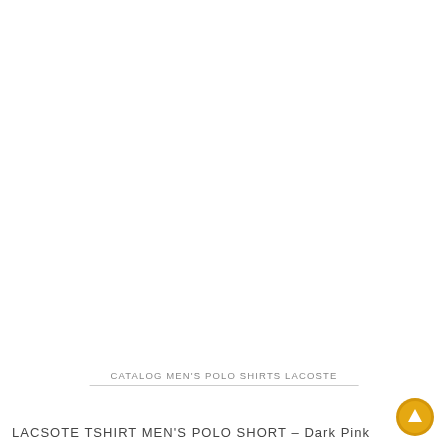[Figure (photo): Large white/blank product image area for a Lacoste polo shirt]
CATALOG MEN'S POLO SHIRTS LACOSTE
LACSOTE TSHIRT MEN'S POLO SHORT – Dark Pink